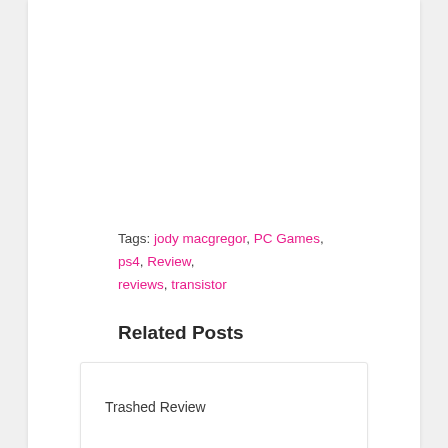Tags: jody macgregor, PC Games, ps4, Review, reviews, transistor
Related Posts
Trashed Review